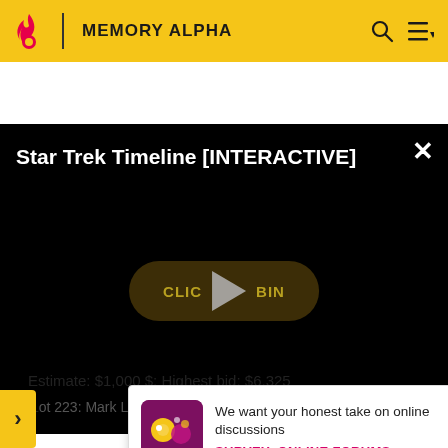MEMORY ALPHA
[Figure (screenshot): Video player showing 'Star Trek Timeline [INTERACTIVE]' with black background, play button overlay and 'CLICK TO BEGIN' button. NaN:NaN timestamp shown.]
Estimate: $1,000 $; Highest bid: $6,325
Lot 223: Mark Lawrence Tunic from TOS "Releva...
[Figure (other): Survey popup: 'We want your honest take on online discussions' with 'SURVEY: ONLINE FORUMS' link and decorative icon image.]